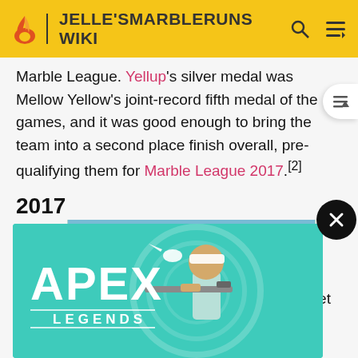JELLE'SMARBLERUNS WIKI
Marble League. Yellup's silver medal was Mellow Yellow's joint-record fifth medal of the games, and it was good enough to bring the team into a second place finish overall, pre-qualifying them for Marble League 2017.[2]
2017
[Figure (photo): Blurry close-up photo of a marble run with colorful checkered pattern in red, yellow, and green]
[Figure (other): Apex Legends advertisement banner with character holding a sniper rifle on teal background]
Yellow pa... ch line in 5-meter S...
It took a couple events for Mellow Yellow to get up to